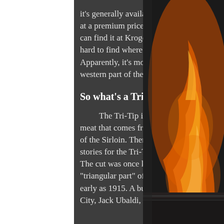it's generally available at Whole Foods at a premium price, and occasionally I can find it at Kroger but otherwise, it hard to find where I'm located in Ohio. Apparently, it's more prevalent in the western part of the U.S.
So what's a Tri-Tip?
The Tri-Tip is a triangular cut of meat that comes from the bottom part of the Sirloin. There are several origin stories for the Tri-Tip over the years. The cut was once known as the "triangular part" of the loin butt as early as 1915. A butcher in New York City, Jack Ubaldi, who was
[Figure (photo): Fire/flames photograph on the right side of the page, showing orange and yellow flames against a dark background]